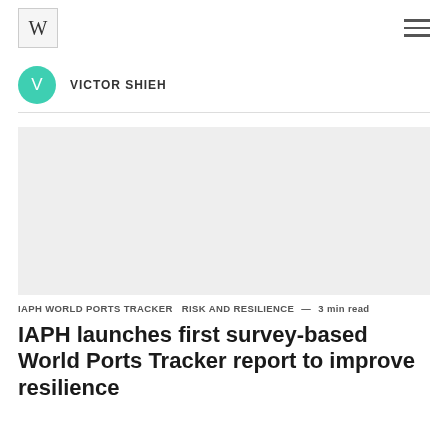W
VICTOR SHIEH
[Figure (photo): Large grey placeholder image area for article hero image]
IAPH WORLD PORTS TRACKER   RISK AND RESILIENCE  —  3 min read
IAPH launches first survey-based World Ports Tracker report to improve resilience